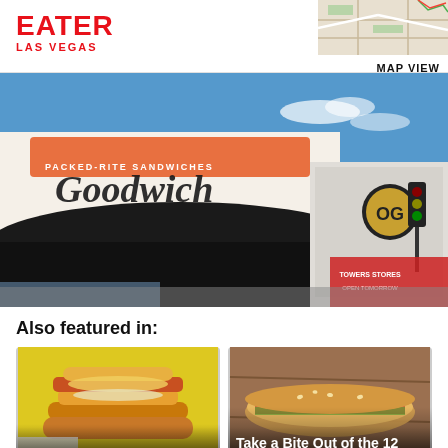EATER LAS VEGAS
MAP VIEW
[Figure (photo): Exterior photo of Goodwich restaurant building showing signage 'Goodwich' and 'Packed-Rite Sandwiches' with a large black canopy, blue sky, and adjacent building with OG sign]
Also featured in:
[Figure (photo): Close-up of breakfast sandwiches stacked on a yellow background]
8 Breakfast Sandwiches
[Figure (photo): Close-up of a large sandwich/hoagie on a wooden surface]
Take a Bite Out of the 12 Best Sandwich Shops...